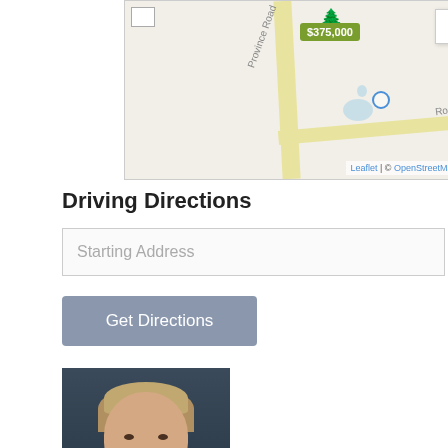[Figure (map): Interactive map showing a property listing at $375,000 with a tree icon, Province Road, Route 140, a pond, and a Menu button.]
Driving Directions
Starting Address
Get Directions
[Figure (photo): Professional headshot of a middle-aged man with light hair, wearing a dark suit, light blue shirt, and patterned tie, smiling.]